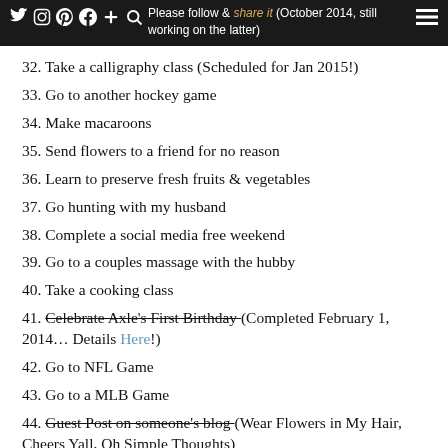Please follow & share it (October 2014, still working on the latter)
32. Take a calligraphy class (Scheduled for Jan 2015!)
33. Go to another hockey game
34. Make macaroons
35. Send flowers to a friend for no reason
36. Learn to preserve fresh fruits & vegetables
37. Go hunting with my husband
38. Complete a social media free weekend
39. Go to a couples massage with the hubby
40. Take a cooking class
41. Celebrate Axle's First Birthday (Completed February 1, 2014… Details Here!)
42. Go to NFL Game
43. Go to a MLB Game
44. Guest Post on someone's blog (Wear Flowers in My Hair, Cheers Yall, Oh Simple Thoughts)